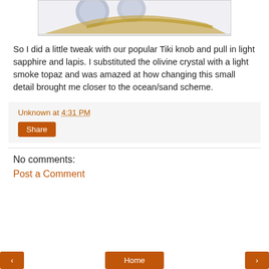[Figure (photo): Partial photo of jewelry pieces - appears to show a ring or brooch with blue/grey pearls and gold metalwork, on a white background, cropped at the top.]
So I did a little tweak with our popular Tiki knob and pull in light sapphire and lapis. I substituted the olivine crystal with a light smoke topaz and was amazed at how changing this small detail brought me closer to the ocean/sand scheme.
Unknown at 4:31 PM
Share
No comments:
Post a Comment
< Home >